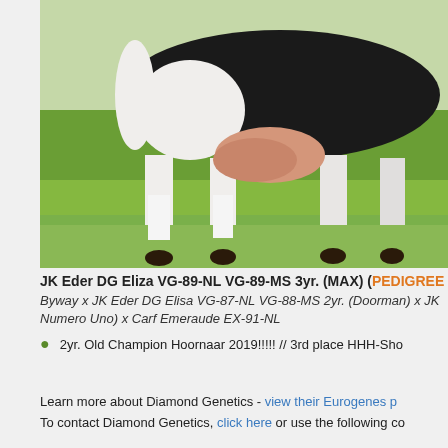[Figure (photo): Black and white Holstein dairy cow photographed from the side/rear, standing on green grass with lush green vegetation in the background. The udder is visible showing a pinkish-beige color. The cow's legs and lower body are visible.]
JK Eder DG Eliza VG-89-NL VG-89-MS 3yr. (MAX) (PEDIGREE
Byway x JK Eder DG Elisa VG-87-NL VG-88-MS 2yr. (Doorman) x JK Numero Uno) x Carf Emeraude EX-91-NL
2yr. Old Champion Hoornaar 2019!!!!! // 3rd place HHH-Sho
Learn more about Diamond Genetics - view their Eurogenes p To contact Diamond Genetics, click here or use the following co